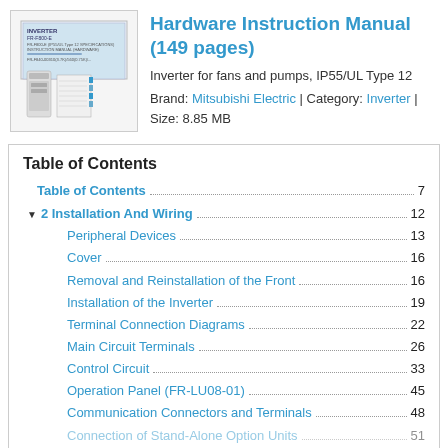[Figure (illustration): Book cover thumbnail showing Mitsubishi Electric FR-F800-E Inverter Hardware Instruction Manual with product image]
Hardware Instruction Manual (149 pages)
Inverter for fans and pumps, IP55/UL Type 12
Brand: Mitsubishi Electric | Category: Inverter | Size: 8.85 MB
Table of Contents
Table of Contents .... 7
2 Installation And Wiring .... 12
Peripheral Devices .... 13
Cover .... 16
Removal and Reinstallation of the Front .... 16
Installation of the Inverter .... 19
Terminal Connection Diagrams .... 22
Main Circuit Terminals .... 26
Control Circuit .... 33
Operation Panel (FR-LU08-01) .... 45
Communication Connectors and Terminals .... 48
Connection of Stand-Alone Option Units .... 51